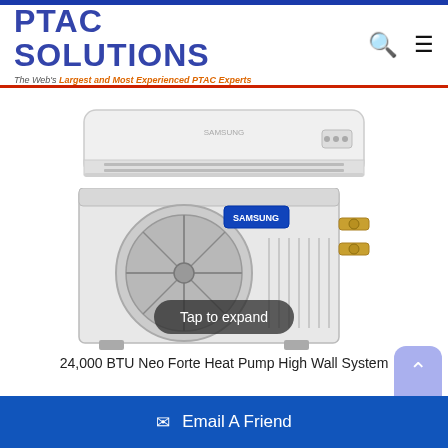PTAC SOLUTIONS — The Web's Largest and Most Experienced PTAC Experts
[Figure (photo): Samsung 24,000 BTU Neo Forte Heat Pump High Wall System showing indoor wall-mounted unit above and outdoor compressor unit below, with a 'Tap to expand' overlay button]
24,000 BTU Neo Forte Heat Pump High Wall System
Email A Friend